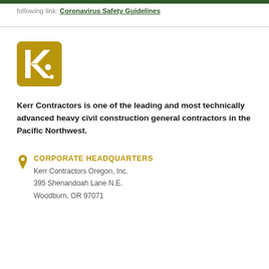following link: Coronavirus Safety Guidelines
[Figure (logo): Kerr Contractors logo — gold square with white stylized KC letters and dot]
Kerr Contractors is one of the leading and most technically advanced heavy civil construction general contractors in the Pacific Northwest.
CORPORATE HEADQUARTERS
Kerr Contractors Oregon, Inc.
395 Shenandoah Lane N.E.
Woodbum, OR 97071